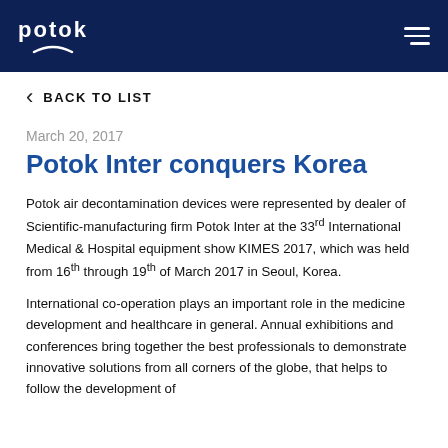potok
BACK TO LIST
March 20, 2017
Potok Inter conquers Korea
Potok air decontamination devices were represented by dealer of Scientific-manufacturing firm Potok Inter at the 33rd International Medical & Hospital equipment show KIMES 2017, which was held from 16th through 19th of March 2017 in Seoul, Korea.
International co-operation plays an important role in the medicine development and healthcare in general. Annual exhibitions and conferences bring together the best professionals to demonstrate innovative solutions from all corners of the globe, that helps to follow the development of